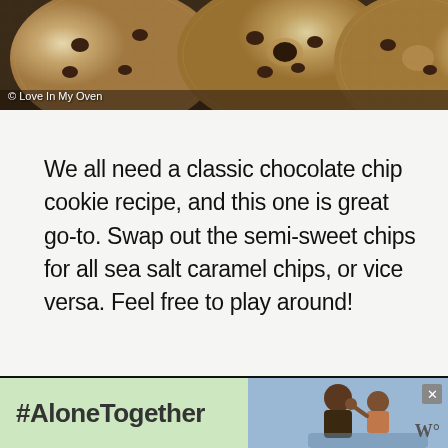[Figure (photo): Close-up photo of chocolate chip cookies on a cooling rack with copyright watermark '© Love In My Oven']
We all need a classic chocolate chip cookie recipe, and this one is great go-to. Swap out the semi-sweet chips for all sea salt caramel chips, or vice versa. Feel free to play around!
[Figure (photo): Advertisement banner with '#AloneTogether' text on green background with a photo of a father and daughter on the right side, and a close button (×)]